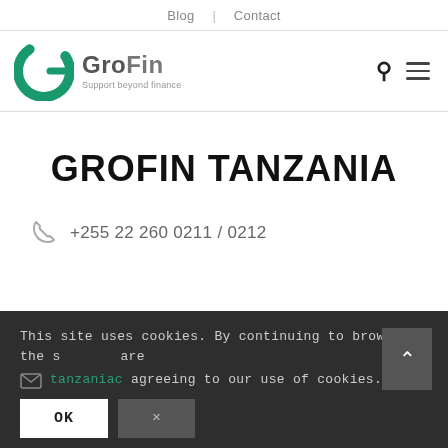Blog | Contact
[Figure (logo): GroFin logo with green spiral G and text 'GroFin Support beyond finance']
GROFIN TANZANIA
+255 22 260 0211 / 0212
This site uses cookies. By continuing to browse the site you are agreeing to our use of cookies.
tanzaniac...
OK
×